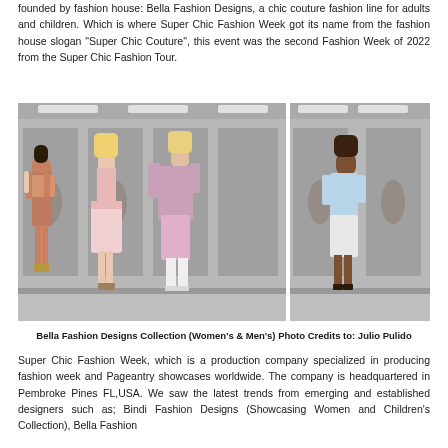founded by fashion house: Bella Fashion Designs, a chic couture fashion line for adults and children. Which is where Super Chic Fashion Week got its name from the fashion house slogan "Super Chic Couture", this event was the second Fashion Week of 2022 from the Super Chic Fashion Tour.
[Figure (photo): Fashion runway photo showing four models on a black catwalk. Three women wearing pink/rose outfits (lace top with shorts, light pink skirt dress, floral off-shoulder dress with white boots) and one man in a light blue t-shirt and white shorts. Background shows a decorative backdrop with a logo emblem.]
Bella Fashion Designs Collection (Women's & Men's) Photo Credits to: Julio Pulido
Super Chic Fashion Week, which is a production company specialized in producing fashion week and Pageantry showcases worldwide. The company is headquartered in Pembroke Pines FL,USA. We saw the latest trends from emerging and established designers such as; Bindi Fashion Designs (Showcasing Women and Children's Collection), Bella Fashion